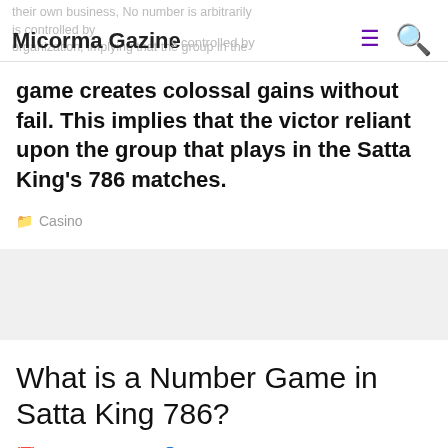Micorma Gazine
game creates colossal gains without fail. This implies that the victor reliant upon the group that plays in the Satta King's 786 matches.
Casino
What is a Number Game in Satta King 786?
January 3, 2022   admin